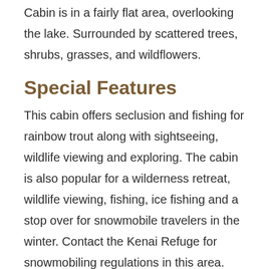Cabin is in a fairly flat area, overlooking the lake. Surrounded by scattered trees, shrubs, grasses, and wildflowers.
Special Features
This cabin offers seclusion and fishing for rainbow trout along with sightseeing, wildlife viewing and exploring. The cabin is also popular for a wilderness retreat, wildlife viewing, fishing, ice fishing and a stop over for snowmobile travelers in the winter. Contact the Kenai Refuge for snowmobiling regulations in this area.
Season Of Use